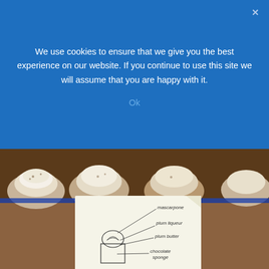We use cookies to ensure that we give you the best experience on our website. If you continue to use this site we will assume that you are happy with it.
Ok
[Figure (photo): A tray of chocolate cupcakes with cream frosting on top, and a handwritten note on paper showing a diagram of a cupcake labeled: mascarpone (top), plum liqueur, plum butter, chocolate sponge. Below the diagram it reads CHOCOLATE PLUM.]
[Figure (logo): A silver gear/badge shape with red geometric border containing FMC logo in red and white, and text 'Dental' in large black letters below it. Bottom text partially visible.]